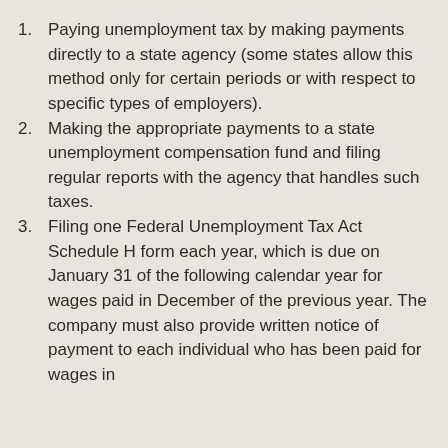Paying unemployment tax by making payments directly to a state agency (some states allow this method only for certain periods or with respect to specific types of employers).
Making the appropriate payments to a state unemployment compensation fund and filing regular reports with the agency that handles such taxes.
Filing one Federal Unemployment Tax Act Schedule H form each year, which is due on January 31 of the following calendar year for wages paid in December of the previous year. The company must also provide written notice of payment to each individual who has been paid for wages in